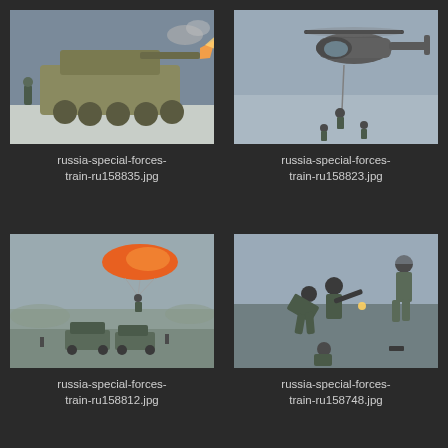[Figure (photo): Military armored vehicle (BTR) firing weapon in snowy conditions with soldiers nearby]
russia-special-forces-train-ru158835.jpg
[Figure (photo): Military helicopter with soldier rappelling down a rope in overcast conditions]
russia-special-forces-train-ru158823.jpg
[Figure (photo): Paraglider with orange canopy over military vehicles in foggy winter landscape]
russia-special-forces-train-ru158812.jpg
[Figure (photo): Soldiers in combat training, one striking another with a baton on wet pavement]
russia-special-forces-train-ru158748.jpg